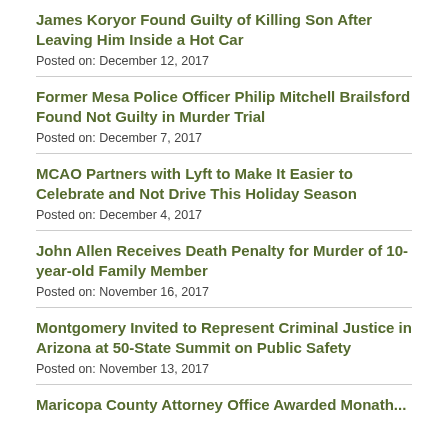James Koryor Found Guilty of Killing Son After Leaving Him Inside a Hot Car
Posted on: December 12, 2017
Former Mesa Police Officer Philip Mitchell Brailsford Found Not Guilty in Murder Trial
Posted on: December 7, 2017
MCAO Partners with Lyft to Make It Easier to Celebrate and Not Drive This Holiday Season
Posted on: December 4, 2017
John Allen Receives Death Penalty for Murder of 10-year-old Family Member
Posted on: November 16, 2017
Montgomery Invited to Represent Criminal Justice in Arizona at 50-State Summit on Public Safety
Posted on: November 13, 2017
Maricopa County Attorney Office Awarded Monath...